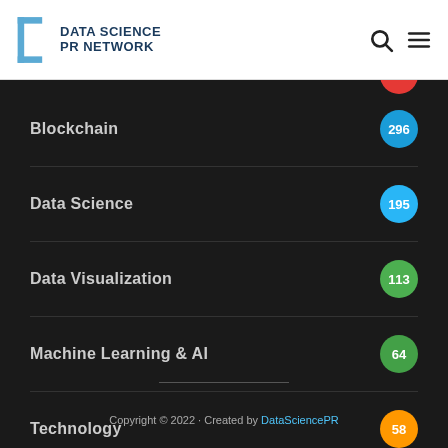[Figure (logo): Data Science PR Network logo with bracket icon and text]
Blockchain 296
Data Science 195
Data Visualization 113
Machine Learning & AI 64
Technology 58
Tutorials 166
Copyright © 2022 · Created by DataSciencePR